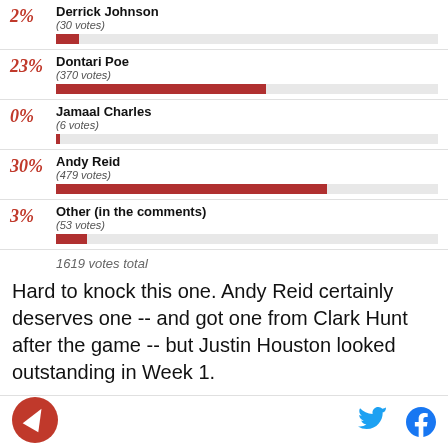[Figure (bar-chart): Poll results]
1619 votes total
Hard to knock this one. Andy Reid certainly deserves one -- and got one from Clark Hunt after the game -- but Justin Houston looked outstanding in Week 1.
Logo | Twitter | Facebook